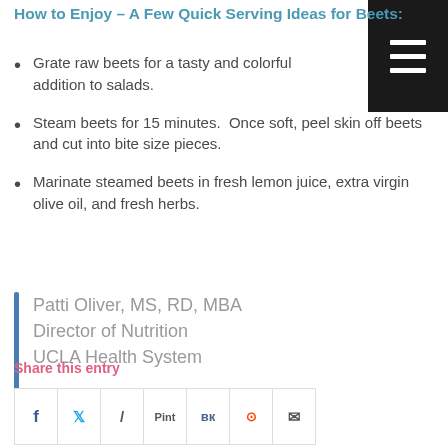How to Enjoy – A Few Quick Serving Ideas for Beets:
Grate raw beets for a tasty and colorful addition to salads.
Steam beets for 15 minutes.  Once soft, peel skin off beets and cut into bite size pieces.
Marinate steamed beets in fresh lemon juice, extra virgin olive oil, and fresh herbs.
Patti Oliver, MS, RD, MBA
Director of Nutrition
UCLA Health System
Share this entry
[Figure (other): Social share icons row: Facebook (f), Twitter (bird), slash, Pinterest (Pint), VK, Reddit, Email]